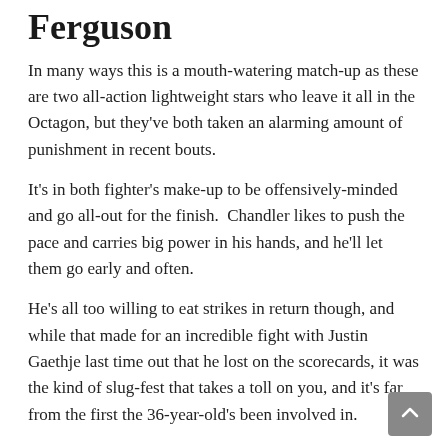Ferguson
In many ways this is a mouth-watering match-up as these are two all-action lightweight stars who leave it all in the Octagon, but they've both taken an alarming amount of punishment in recent bouts.
It's in both fighter's make-up to be offensively-minded and go all-out for the finish.  Chandler likes to push the pace and carries big power in his hands, and he'll let them go early and often.
He's all too willing to eat strikes in return though, and while that made for an incredible fight with Justin Gaethje last time out that he lost on the scorecards, it was the kind of slug-fest that takes a toll on you, and it's far from the first the 36-year-old's been involved in.
The 38-year-old Ferguson is in the same boat though.  He might not have the same one-punch power as Chandler, but he is a Swiss-army knife of striking techniques and his creative offense and unpredictable moment combined with a relentless pace have wilted many an opponent.